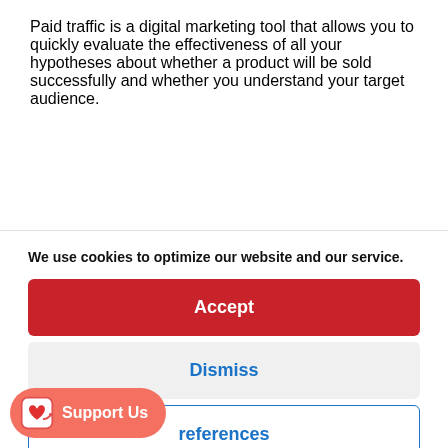Paid traffic is a digital marketing tool that allows you to quickly evaluate the effectiveness of all your hypotheses about whether a product will be sold successfully and whether you understand your target audience.
We use cookies to optimize our website and our service.
Accept
Dismiss
references
Support Us